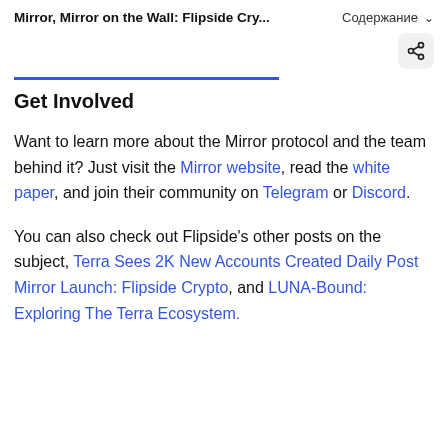Mirror, Mirror on the Wall: Flipside Cry... Содержание
Get Involved
Want to learn more about the Mirror protocol and the team behind it? Just visit the Mirror website, read the white paper, and join their community on Telegram or Discord.
You can also check out Flipside's other posts on the subject, Terra Sees 2K New Accounts Created Daily Post Mirror Launch: Flipside Crypto, and LUNA-Bound: Exploring The Terra Ecosystem.